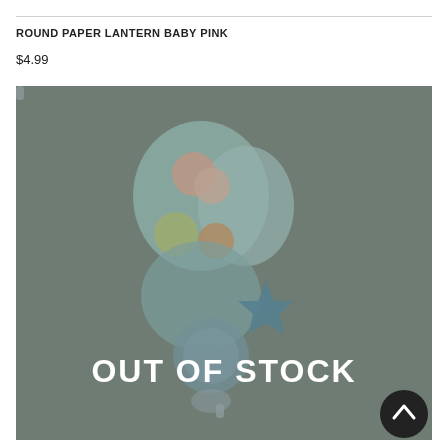ROUND PAPER LANTERN BABY PINK
$4.99
[Figure (photo): Product photo of Peppa Pig themed balloon/lantern set on a grey-green dimmed background with an 'OUT OF STOCK' overlay text in white bold letters, and a scroll-up button in the bottom right corner.]